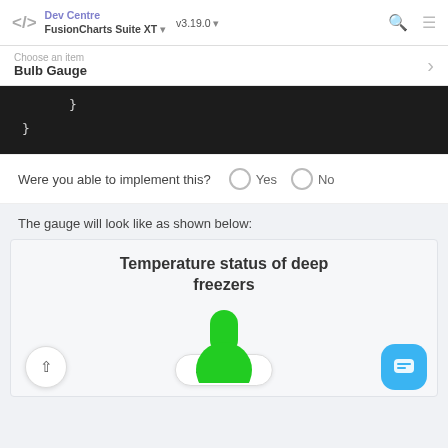</> Dev Centre FusionCharts Suite XT ▾  v3.19.0 ▾
Choose an item
Bulb Gauge
}
}
Were you able to implement this?  ○ Yes  ○ No
The gauge will look like as shown below:
[Figure (illustration): Bulb gauge chart titled 'Temperature status of deep freezers' with a green bulb shape visible at the bottom, a JUMP TO button, a back-to-top arrow button, and a blue chat button.]